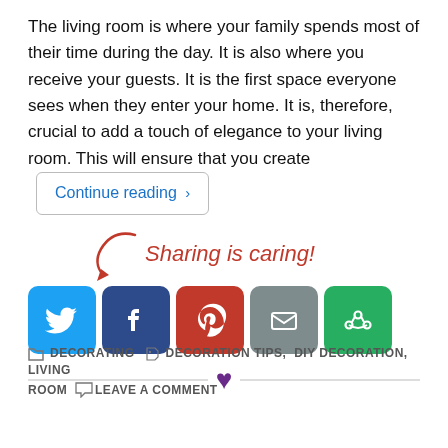The living room is where your family spends most of their time during the day. It is also where you receive your guests. It is the first space everyone sees when they enter your home. It is, therefore, crucial to add a touch of elegance to your living room. This will ensure that you create [Continue reading >]
[Figure (infographic): Sharing is caring! text with a red arrow and social media icons: Twitter (blue), Facebook (dark blue), Pinterest (red), Email (gray), and a green share icon]
DECORATING  DECORATION TIPS, DIY DECORATION, LIVING ROOM  LEAVE A COMMENT
[Figure (illustration): A horizontal divider with a purple heart in the center]